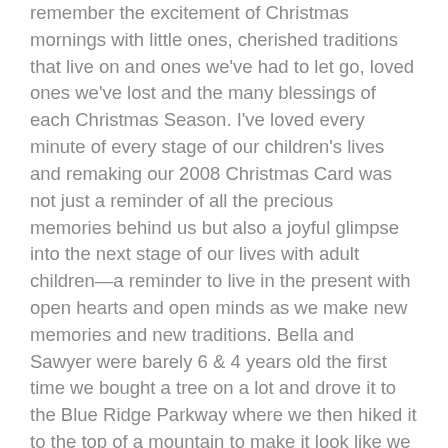remember the excitement of Christmas mornings with little ones, cherished traditions that live on and ones we've had to let go, loved ones we've lost and the many blessings of each Christmas Season. I've loved every minute of every stage of our children's lives and remaking our 2008 Christmas Card was not just a reminder of all the precious memories behind us but also a joyful glimpse into the next stage of our lives with adult children—a reminder to live in the present with open hearts and open minds as we make new memories and new traditions. Bella and Sawyer were barely 6 & 4 years old the first time we bought a tree on a lot and drove it to the Blue Ridge Parkway where we then hiked it to the top of a mountain to make it look like we cut the tree down in the mountains all for a Christmas card photo. They are now 20 & 18 years old and a lot has changed. A few things remain the same though—they still go along with our crazy ideas, they still think we're crazy and